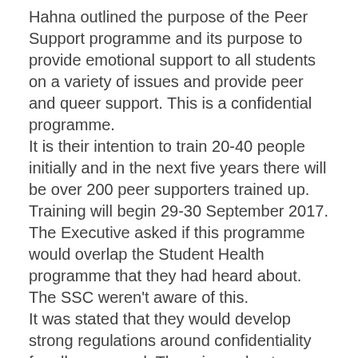Hahna outlined the purpose of the Peer Support programme and its purpose to provide emotional support to all students on a variety of issues and provide peer and queer support. This is a confidential programme.
It is their intention to train 20-40 people initially and in the next five years there will be over 200 peer supporters trained up. Training will begin 29-30 September 2017.
The Executive asked if this programme would overlap the Student Health programme that they had heard about. The SSC weren't aware of this.
It was stated that they would develop strong regulations around confidentiality for all concerned. There is a robust application process with compulsory training.
EXAM PACKS
Danielle wanted to inform the Executive she intended to fill the left over pencil cases with erasers, pencils etc